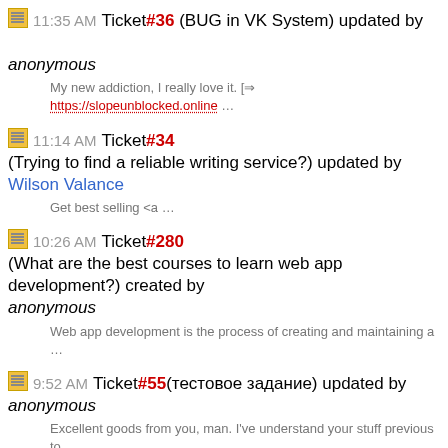11:35 AM Ticket #36 (BUG in VK System) updated by anonymous — My new addiction, I really love it. [ https://slopeunblocked.online …
11:14 AM Ticket #34 (Trying to find a reliable writing service?) updated by Wilson Valance — Get best selling <a …
10:26 AM Ticket #280 (What are the best courses to learn web app development?) created by anonymous — Web app development is the process of creating and maintaining a …
9:52 AM Ticket #55 (тестовое задание) updated by anonymous — Excellent goods from you, man. I've understand your stuff previous to …
9:24 AM Ticket #143 (cenforce 100) updated by mtom — Generally I don't read article on blogs, but I wish to say that this …
8:46 AM Ticket #55 (тестовое задание) updated by Ра…